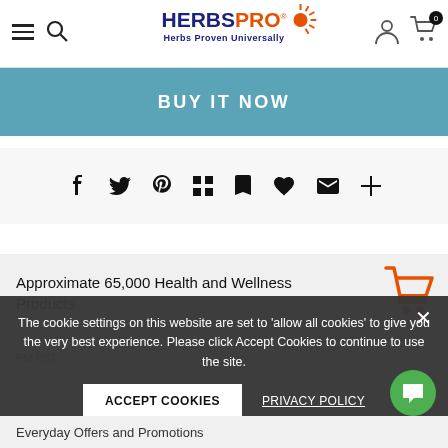HERBSPRO - Herbs Proven Universally
BUY IT NOW
[Figure (other): Social sharing icons: Facebook, Twitter, Pinterest, Grid/Apps, Bookmark, Heart, Email, Plus]
Approximate 65,000 Health and Wellness Products
The cookie settings on this website are set to 'allow all cookies' to give you the very best experience. Please click Accept Cookies to continue to use the site.
ACCEPT COOKIES
PRIVACY POLICY
Everyday Offers and Promotions